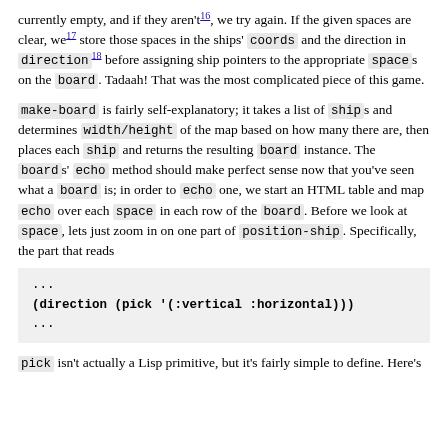currently empty, and if they aren't¹⁶, we try again. If the given spaces are clear, we¹⁷ store those spaces in the ships' coords and the direction in direction¹⁸ before assigning ship pointers to the appropriate spaces on the board. Tadaah! That was the most complicated piece of this game.
make-board is fairly self-explanatory; it takes a list of ships and determines width/height of the map based on how many there are, then places each ship and returns the resulting board instance. The boards' echo method should make perfect sense now that you've seen what a board is; in order to echo one, we start an HTML table and map echo over each space in each row of the board. Before we look at space, lets just zoom in on one part of position-ship. Specifically, the part that reads
...
(direction (pick '(:vertical :horizontal)))
...
pick isn't actually a Lisp primitive, but it's fairly simple to define. Here's